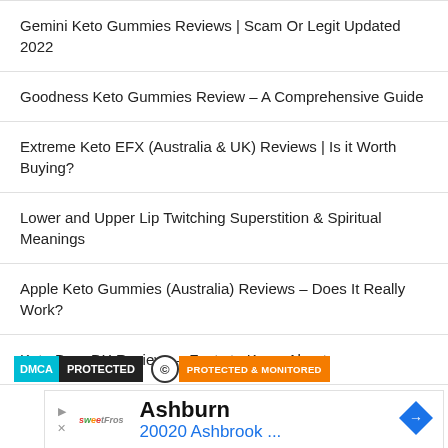Gemini Keto Gummies Reviews | Scam Or Legit Updated 2022
Goodness Keto Gummies Review – A Comprehensive Guide
Extreme Keto EFX (Australia & UK) Reviews | Is it Worth Buying?
Lower and Upper Lip Twitching Superstition & Spiritual Meanings
Apple Keto Gummies (Australia) Reviews – Does It Really Work?
Keto Burn DX Reviews – Facts to Know About
[Figure (logo): DMCA Protected badge and Copyright Protected & Monitored badge]
[Figure (infographic): Advertisement: Ashburn 20020 Ashbrook ... with sweetFrog logo and navigation arrow icon]